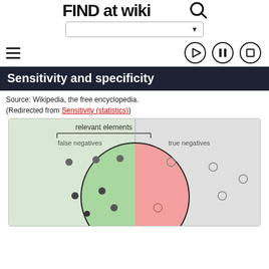FIND at Wiki (logo/header area with search bar and navigation controls)
Sensitivity and specificity
Source: Wikipedia, the free encyclopedia.
(Redirected from Sensitivity (statistics))
[Figure (illustration): Diagram showing relevant elements divided into false negatives (left, green background) and true negatives (right, grey background), with filled circles (positives) and hollow circles (negatives), and a large circle representing the classifier boundary with a green left half and red right half. Labels: 'relevant elements' with bracket above left section, 'false negatives' top-left, 'true negatives' top-right.]